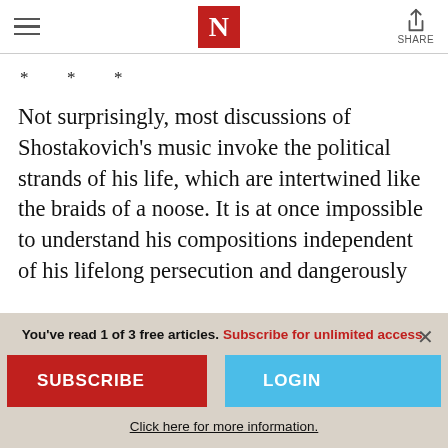N (The Nation logo) | SHARE
* * *
Not surprisingly, most discussions of Shostakovich's music invoke the political strands of his life, which are intertwined like the braids of a noose. It is at once impossible to understand his compositions independent of his lifelong persecution and dangerously
You've read 1 of 3 free articles. Subscribe for unlimited access.
SUBSCRIBE
LOGIN
Click here for more information.